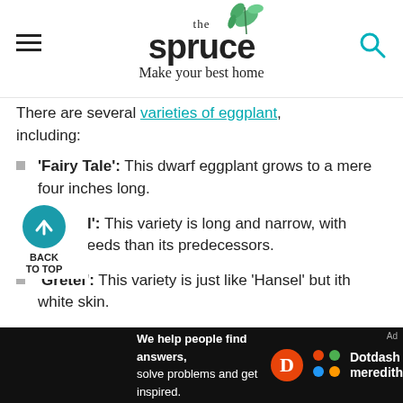the spruce — Make your best home
There are several varieties of eggplant, including:
'Fairy Tale': This dwarf eggplant grows to a mere four inches long.
'Hansel': This variety is long and narrow, with fewer seeds than its predecessors.
'Gretel': This variety is just like 'Hansel' but with white skin.
'Rosa Bianca': This round variety has pink and lavender shading.
[Figure (logo): Dotdash Meredith advertisement banner: 'We help people find answers, solve problems and get inspired.']